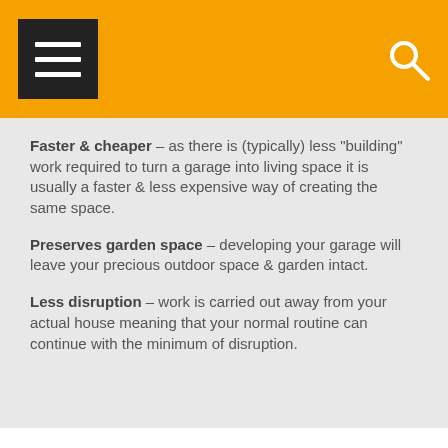[Figure (other): Orange navigation header bar with hamburger menu icon on left and search icon on right]
Faster & cheaper – as there is (typically) less "building" work required to turn a garage into living space it is usually a faster & less expensive way of creating the same space.
Preserves garden space – developing your garage will leave your precious outdoor space & garden intact.
Less disruption – work is carried out away from your actual house meaning that your normal routine can continue with the minimum of disruption.